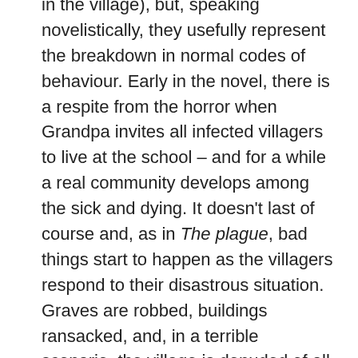in the village), but, speaking novelistically, they usefully represent the breakdown in normal codes of behaviour. Early in the novel, there is a respite from the horror when Grandpa invites all infected villagers to live at the school – and for a while a real community develops among the sick and dying. It doesn't last of course and, as in The plague, bad things start to happen as the villagers respond to their disastrous situation. Graves are robbed, buildings ransacked, and, in a terrible scenario, the village is denuded of all its trees by villagers needing to make coffins. Black humour is never too far from the tone, and this tree-felling scene provides a perfect example.
It's all powerful stuff and is conveyed through strong writing that uses physical description to underscore the devastation occurring in the village. I particularly liked